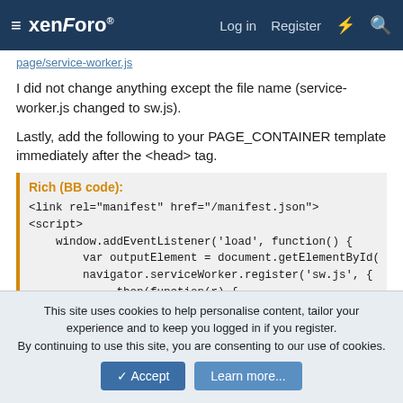≡ xenForo  Log in  Register
page/service-worker.js
I did not change anything except the file name (service-worker.js changed to sw.js).
Lastly, add the following to your PAGE_CONTAINER template immediately after the <head> tag.
Rich (BB code):
<link rel="manifest" href="/manifest.json">
<script>
    window.addEventListener('load', function() {
        var outputElement = document.getElementById('ou
        navigator.serviceWorker.register('sw.js', { sco
            .then(function(r) {
This site uses cookies to help personalise content, tailor your experience and to keep you logged in if you register.
By continuing to use this site, you are consenting to our use of cookies.
Accept  Learn more...